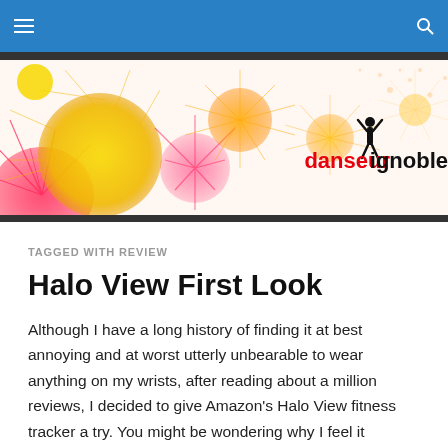danseur ignoble — navigation bar
[Figure (illustration): Website banner for 'danseur ignoble' blog featuring colorful starburst/firework designs in yellow, red/pink, and orange on a white background, with the site name 'danseur ignoble' in red and black bold text on the right side.]
TAGGED WITH REVIEW
Halo View First Look
Although I have a long history of finding it at best annoying and at worst utterly unbearable to wear anything on my wrists, after reading about a million reviews, I decided to give Amazon's Halo View fitness tracker a try. You might be wondering why I feel it necessary to actually bother, …